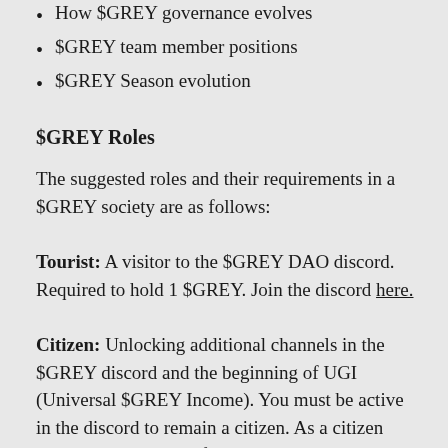How $GREY governance evolves
$GREY team member positions
$GREY Season evolution
$GREY Roles
The suggested roles and their requirements in a $GREY society are as follows:
Tourist: A visitor to the $GREY DAO discord. Required to hold 1 $GREY. Join the discord here.
Citizen: Unlocking additional channels in the $GREY discord and the beginning of UGI (Universal $GREY Income). You must be active in the discord to remain a citizen. As a citizen you can submit ideas for proposals as